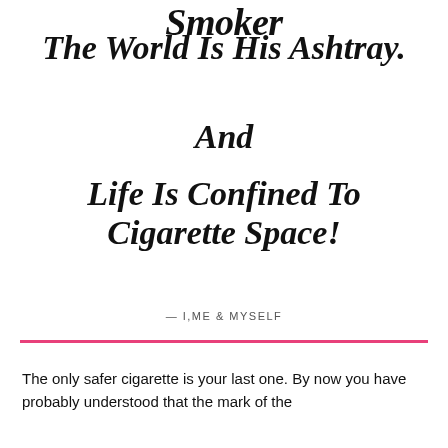Smoker
The World Is His Ashtray.
And
Life Is Confined To Cigarette Space!
— I,ME & MYSELF
The only safer cigarette is your last one. By now you have probably understood that the mark of the